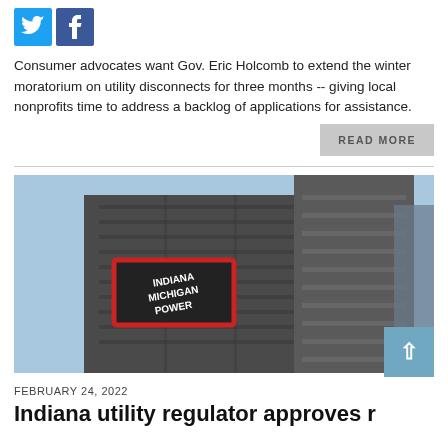[Figure (other): Twitter and Facebook social media icons (blue bird and blue f logos)]
Consumer advocates want Gov. Eric Holcomb to extend the winter moratorium on utility disconnects for three months -- giving local nonprofits time to address a backlog of applications for assistance.
READ MORE
[Figure (photo): Photograph of the Indiana Michigan Power building, a tall dark office tower against a blue sky, with the Indiana Michigan Power logo (red rectangle with white text) on the building facade]
FEBRUARY 24, 2022
Indiana utility regulator approves r